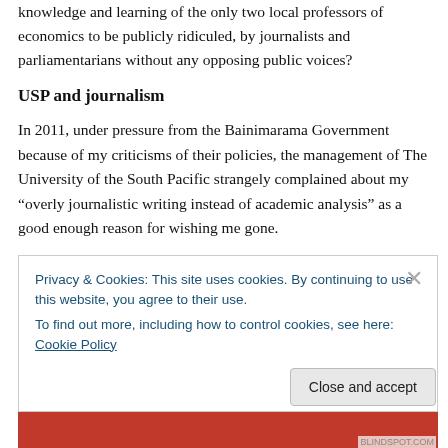knowledge and learning of the only two local professors of economics to be publicly ridiculed, by journalists and parliamentarians without any opposing public voices?
USP and journalism
In 2011, under pressure from the Bainimarama Government because of my criticisms of their policies, the management of The University of the South Pacific strangely complained about my “overly journalistic writing instead of academic analysis” as a good enough reason for wishing me gone.
Privacy & Cookies: This site uses cookies. By continuing to use this website, you agree to their use.
To find out more, including how to control cookies, see here: Cookie Policy
Close and accept